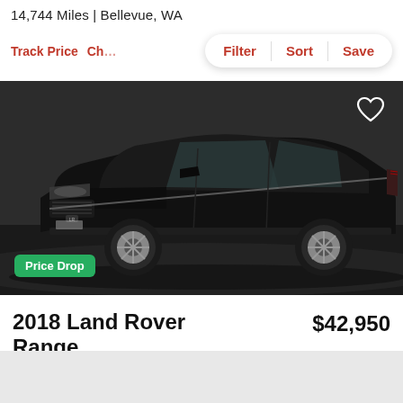14,744 Miles | Bellevue, WA
Track Price
Che...
Filter | Sort | Save
[Figure (photo): Black 2018 Land Rover Range Rover Evoque HSE parked in a dark studio setting with a 'Price Drop' badge in green at the bottom left and a heart/favorite icon at top right.]
Price Drop
2018 Land Rover Range Rover Evoque HSE
$42,950